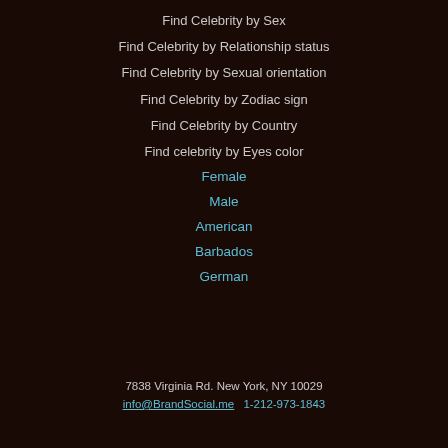Find Celebrity by Sex
Find Celebrity by Relationship status
Find Celebrity by Sexual orientation
Find Celebrity by Zodiac sign
Find Celebrity by Country
Find celebrity by Eyes color
Female
Male
American
Barbados
German
7838 Virginia Rd. New York, NY 10029  info@BrandSocial.me  1-212-973-1843